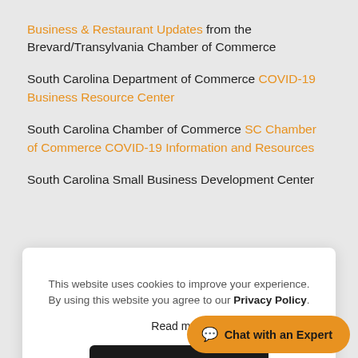Business & Restaurant Updates from the Brevard/Transylvania Chamber of Commerce
South Carolina Department of Commerce COVID-19 Business Resource Center
South Carolina Chamber of Commerce SC Chamber of Commerce COVID-19 Information and Resources
South Carolina Small Business Development Center
This website uses cookies to improve your experience. By using this website you agree to our Privacy Policy.
Read more
ACCEPT ALL
Chat with an Expert
North Carolina's Small Business and Technology